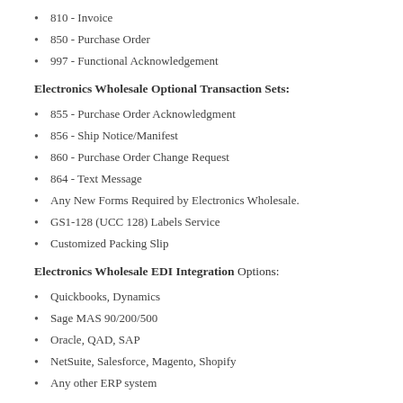810 - Invoice
850 - Purchase Order
997 - Functional Acknowledgement
Electronics Wholesale Optional Transaction Sets:
855 - Purchase Order Acknowledgment
856 - Ship Notice/Manifest
860 - Purchase Order Change Request
864 - Text Message
Any New Forms Required by Electronics Wholesale.
GS1-128 (UCC 128) Labels Service
Customized Packing Slip
Electronics Wholesale EDI Integration Options:
Quickbooks, Dynamics
Sage MAS 90/200/500
Oracle, QAD, SAP
NetSuite, Salesforce, Magento, Shopify
Any other ERP system